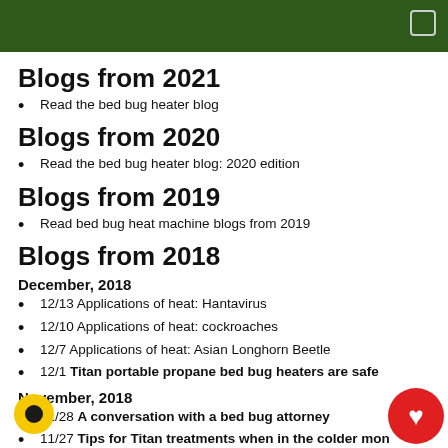Blogs from 2021
Read the bed bug heater blog
Blogs from 2020
Read the bed bug heater blog: 2020 edition
Blogs from 2019
Read bed bug heat machine blogs from 2019
Blogs from 2018
December, 2018
12/13 Applications of heat: Hantavirus
12/10 Applications of heat: cockroaches
12/7 Applications of heat: Asian Longhorn Beetle
12/1 Titan portable propane bed bug heaters are safe
November, 2018
11/28 A conversation with a bed bug attorney
11/27 Tips for Titan treatments when in the colder mon…
11/17 Holiday travel brings people and bed bugs toget…
October, 2018